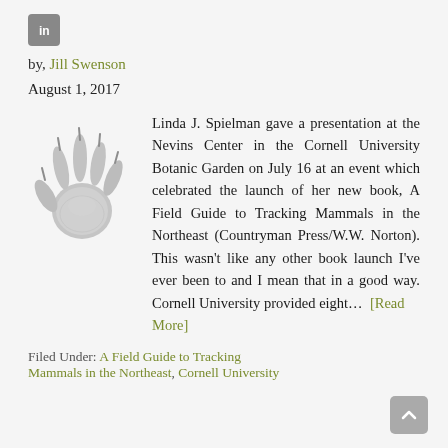[Figure (logo): LinkedIn icon, grey square with 'in' text]
by, Jill Swenson
August 1, 2017
[Figure (photo): Grayscale image of an animal paw/hand print, likely a mammal track]
Linda J. Spielman gave a presentation at the Nevins Center in the Cornell University Botanic Garden on July 16 at an event which celebrated the launch of her new book, A Field Guide to Tracking Mammals in the Northeast (Countryman Press/W.W. Norton). This wasn't like any other book launch I've ever been to and I mean that in a good way. Cornell University provided eight… [Read More]
Filed Under: A Field Guide to Tracking Mammals in the Northeast, Cornell University